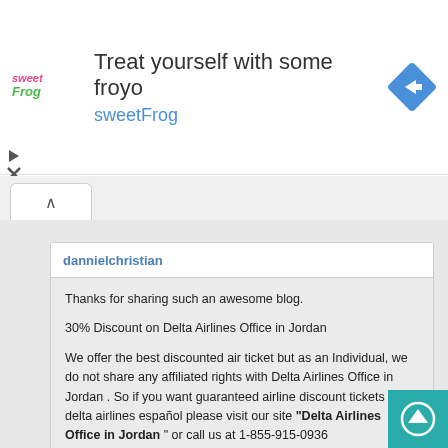[Figure (illustration): sweetFrog frozen yogurt logo — colorful text logo with a frog character]
Treat yourself with some froyo
sweetFrog
[Figure (illustration): Blue diamond navigation/directions icon with white arrow pointing right]
[Figure (illustration): Play button triangle icon and X close icon on left edge of ad banner]
[Figure (illustration): Tab bar with caret/chevron up tab button]
dannielchristian
Thanks for sharing such an awesome blog.

30% Discount on Delta Airlines Office in Jordan

We offer the best discounted air ticket but as an Individual, we do not share any affiliated rights with Delta Airlines Office in Jordan . So if you want guaranteed airline discount tickets for delta airlines español please visit our site "Delta Airlines Office in Jordan " or call us at 1-855-915-0936